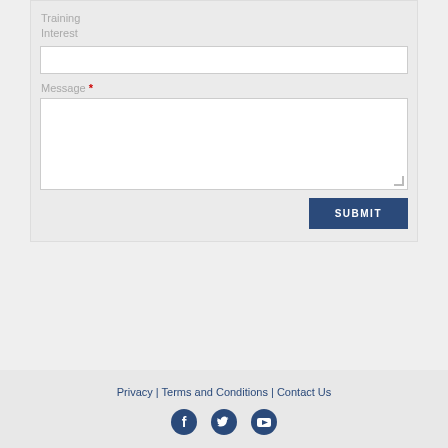Training
Interest
[Figure (screenshot): Text input field for Training Interest]
Message *
[Figure (screenshot): Textarea input field for Message]
[Figure (screenshot): SUBMIT button]
Privacy | Terms and Conditions | Contact Us
[Figure (other): Social media icons: Facebook, Twitter, YouTube]